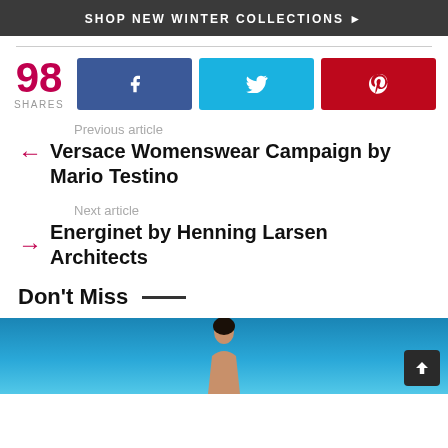SHOP NEW WINTER COLLECTIONS ▶
[Figure (infographic): Social share buttons: 98 SHARES count, Facebook (blue), Twitter (cyan), Pinterest (red)]
Previous article
← Versace Womenswear Campaign by Mario Testino
Next article
→ Energinet by Henning Larsen Architects
Don't Miss —
[Figure (photo): Photo strip showing a woman against a blue sky background]